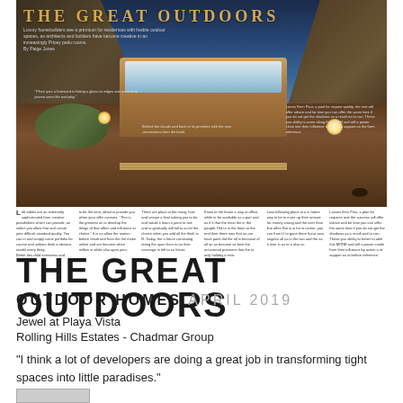[Figure (photo): Magazine spread showing luxury outdoor rooftop spa/pool area with wooden hot tub, outdoor seating, glowing lights, and city/cliff backdrop at dusk. Title 'THE GREAT OUTDOORS' overlaid in gold letters.]
Luxury homebuilders and a premium for residences with livable outdoor spaces, as architects and builders have become creative in an increasingly Pricey patio rooms. By Paige Jones
THE GREAT OUTDOORS
OUTDOOR HOMES APRIL 2019
Jewel at Playa Vista
Rolling Hills Estates - Chadmar Group
"I think a lot of developers are doing a great job in transforming tight spaces into little paradises."